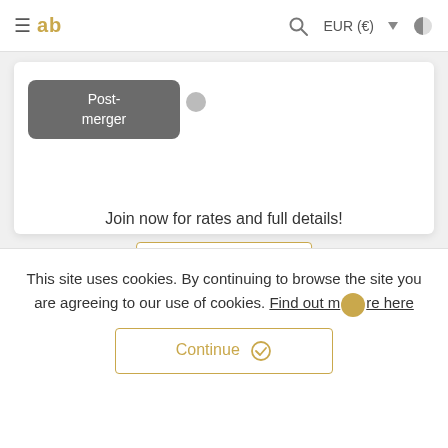≡ ab  🔍  EUR (€) ▼  ◑
[Figure (screenshot): Post-merger tooltip badge in dark grey with rounded corners, with a small circle tail to the right]
Join now for rates and full details!
Login / Join
This site uses cookies. By continuing to browse the site you are agreeing to our use of cookies. Find out more here
Continue